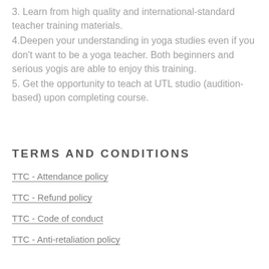3. Learn from high quality and international-standard teacher training materials.
4.Deepen your understanding in yoga studies even if you don't want to be a yoga teacher. Both beginners and serious yogis are able to enjoy this training.
5. Get the opportunity to teach at UTL studio (audition-based) upon completing course.
TERMS AND CONDITIONS
TTC - Attendance policy
TTC - Refund policy
TTC - Code of conduct
TTC - Anti-retaliation policy